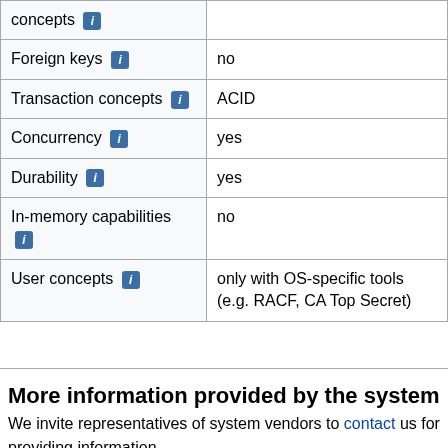| Feature | Value |
| --- | --- |
| concepts [i] |  |
| Foreign keys [i] | no |
| Transaction concepts [i] | ACID |
| Concurrency [i] | yes |
| Durability [i] | yes |
| In-memory capabilities [i] | no |
| User concepts [i] | only with OS-specific tools (e.g. RACF, CA Top Secret) |
More information provided by the system
We invite representatives of system vendors to contact us for providing information, and for displaying vendor-provided information such as